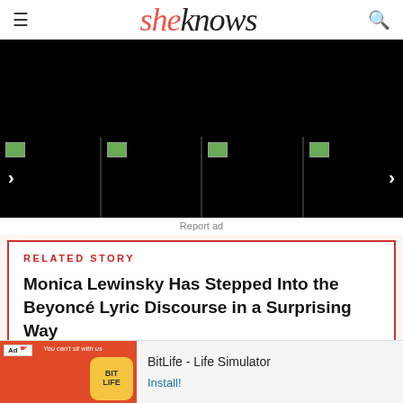sheknows
[Figure (screenshot): Black video player banner]
[Figure (screenshot): Row of four thumbnail images with left and right navigation arrows, all showing black placeholders with small image icons in top-left corners]
Report ad
RELATED STORY
Monica Lewinsky Has Stepped Into the Beyoncé Lyric Discourse in a Surprising Way
[Figure (screenshot): Advertisement banner: BitLife - Life Simulator with Install button]